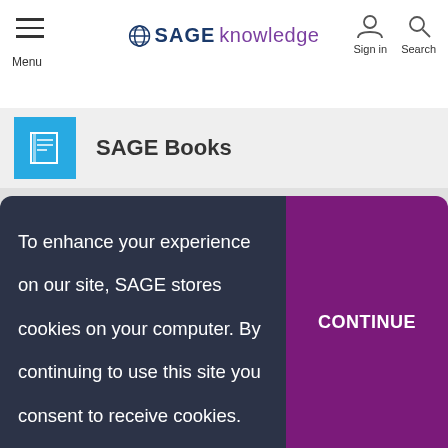SAGE knowledge — Menu | Sign in | Search
SAGE Books
[Figure (photo): Two men standing in front of SAGE branded display and a colorful map]
To enhance your experience on our site, SAGE stores cookies on your computer. By continuing to use this site you consent to receive cookies. Learn more.
CONTINUE